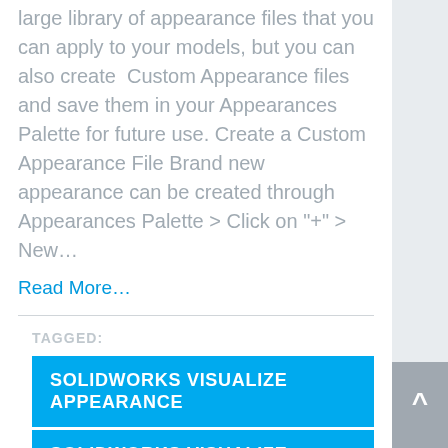large library of appearance files that you can apply to your models, but you can also create  Custom Appearance files and save them in your Appearances Palette for future use. Create a Custom Appearance File Brand new appearance can be created through Appearances Palette > Click on "+" > New...
Read More…
TAGGED:
SOLIDWORKS VISUALIZE APPEARANCE
SOLIDWORKS VISUALIZE